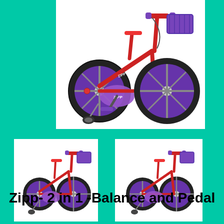[Figure (photo): Close-up photo of a children's red and purple Zipp balance/pedal bicycle showing the front wheel, handlebars, frame, basket, and pedal area on white background]
[Figure (photo): Small thumbnail of the full Zipp 2-in-1 children's bicycle (red and purple) on white background]
[Figure (photo): Small thumbnail of the full Zipp 2-in-1 children's bicycle (red and purple) on white background, slightly smaller view]
Zipp- 2 in 1 -Balance and Pedal